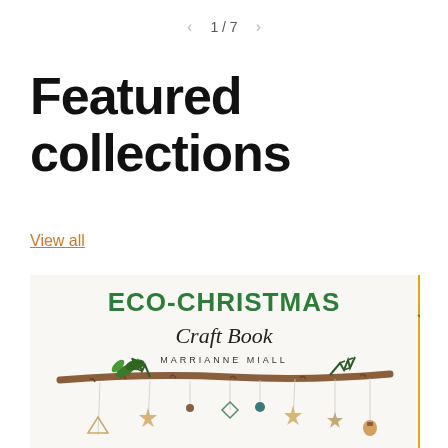< 1 / 7 >
Featured collections
View all
[Figure (photo): Book cover of 'ECO-CHRISTMAS Craft Book' by Marrianne Miall, showing a rustic wood branch with hanging Christmas ornaments made from natural materials, next to a yellow partial book cover strip on the right.]